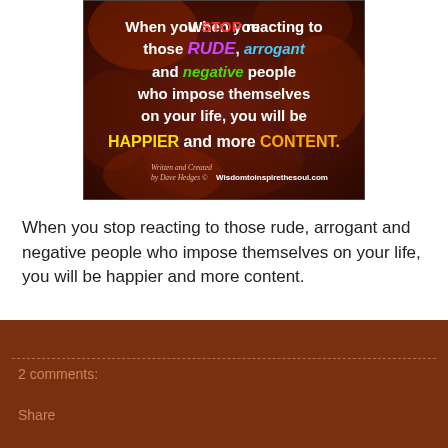[Figure (illustration): Inspirational quote image on dark reddish-brown autumn leaf background with colorful text: 'When you STOP reacting to those RUDE, arrogant and negative people who impose themselves on your life, you will be HAPPIER and more CONTENT.' with attribution to Dave Hedges and Wisdomtoinspirethesoul.com]
When you stop reacting to those rude, arrogant and negative people who impose themselves on your life, you will be happier and more content.
2 comments:
Share